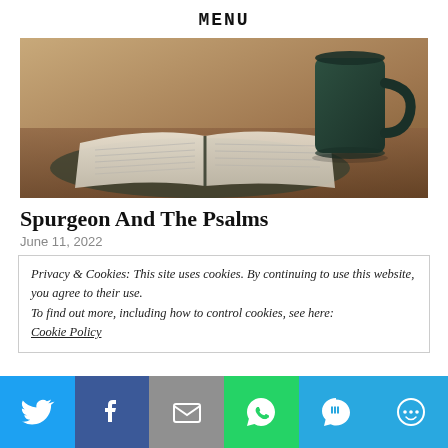MENU
[Figure (photo): An open Bible with pages spread out on a dark surface, with a dark green ceramic mug in the upper right, warm sepia-toned background.]
Spurgeon And The Psalms
June 11, 2022
Privacy & Cookies: This site uses cookies. By continuing to use this website, you agree to their use.
To find out more, including how to control cookies, see here: Cookie Policy